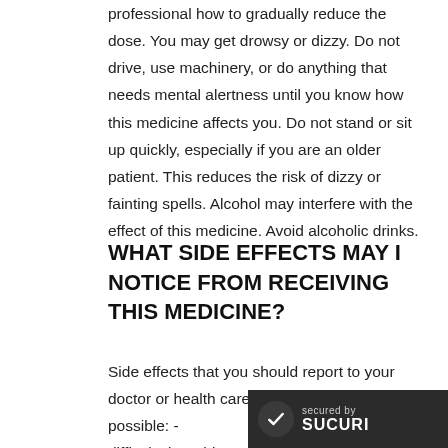professional how to gradually reduce the dose. You may get drowsy or dizzy. Do not drive, use machinery, or do anything that needs mental alertness until you know how this medicine affects you. Do not stand or sit up quickly, especially if you are an older patient. This reduces the risk of dizzy or fainting spells. Alcohol may interfere with the effect of this medicine. Avoid alcoholic drinks.
WHAT SIDE EFFECTS MAY I NOTICE FROM RECEIVING THIS MEDICINE?
Side effects that you should report to your doctor or health care professional as soon as possible: - difficulty breathing -dizziness or lightheadedness, fainting -fast heartbeat, palpitations...